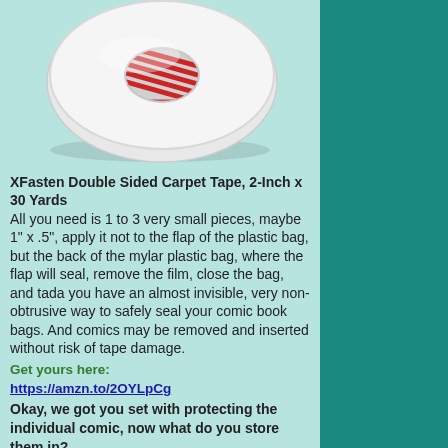[Figure (photo): A roll of white double-sided carpet tape photographed from above on a white background, showing the red stripe pattern on the inner spool.]
XFasten Double Sided Carpet Tape, 2-Inch x 30 Yards All you need is 1 to 3 very small pieces, maybe 1" x .5", apply it not to the flap of the plastic bag, but the back of the mylar plastic bag, where the flap will seal, remove the film, close the bag, and tada you have an almost invisible, very non-obtrusive way to safely seal your comic book bags. And comics may be removed and inserted without risk of tape damage.
Get yours here: https://amzn.to/2OYLpCg
Okay, we got you set with protecting the individual comic, now what do you store them in?
COMIC STORAGE